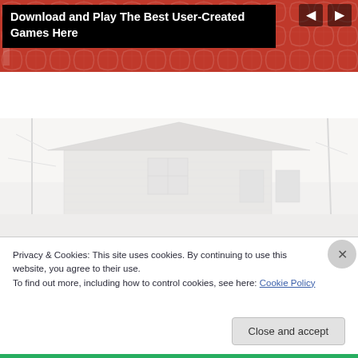[Figure (screenshot): Red decorative pattern banner with navigation arrows (previous/next) at top of page]
Download and Play The Best User-Created Games Here
[Figure (photo): Faded/washed-out photograph of a white wooden house or mobile home exterior with bare trees in background]
Privacy & Cookies: This site uses cookies. By continuing to use this website, you agree to their use.
To find out more, including how to control cookies, see here: Cookie Policy
Close and accept